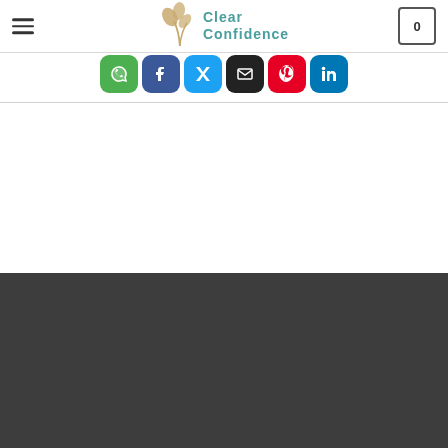[Figure (logo): Clear Confidence brand logo with leaf/plant illustration in gold/tan and teal text reading 'Clear Confidence']
[Figure (screenshot): Social share buttons row: WhatsApp (green), Facebook (dark blue), Twitter (light blue), Email (black/X), Pinterest (red), LinkedIn (dark blue)]
[Figure (screenshot): Dark charcoal footer/banner area occupying lower half of the page]